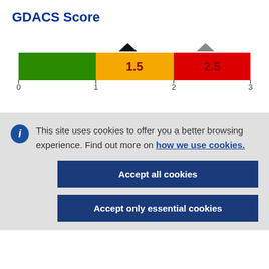GDACS Score
[Figure (bar-chart): Horizontal color bar ranging green (0-1), orange (1-2), red (2-3) with black arrow marker at 1.5 and gray arrow marker at 2.5]
This site uses cookies to offer you a better browsing experience. Find out more on how we use cookies.
Accept all cookies
Accept only essential cookies